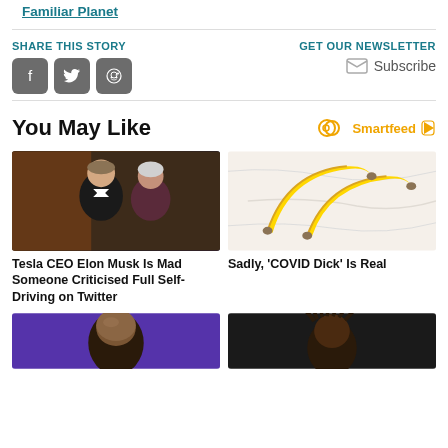Familiar Planet
SHARE THIS STORY
GET OUR NEWSLETTER
Subscribe
You May Like
[Figure (logo): Smartfeed logo with orange infinity-like icon and play button]
[Figure (photo): Elon Musk in black suit with white bow tie at formal event with elderly woman laughing beside him]
Tesla CEO Elon Musk Is Mad Someone Criticised Full Self-Driving on Twitter
[Figure (photo): Two yellow bananas on marble surface]
Sadly, 'COVID Dick' Is Real
[Figure (photo): Bald man on purple/blue lit background]
[Figure (photo): Person with dreadlocks on dark background]